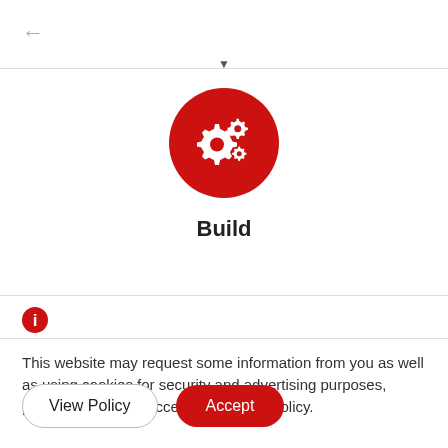[Figure (screenshot): Back arrow navigation icon in grey]
[Figure (illustration): Red circle with white gear/settings icons representing a Build function]
Build
[Figure (illustration): Red circle info icon (i)]
This website may request some information from you as well as using cookies for security and advertising purposes, please review and accept the privacy policy.
View Policy
Accept